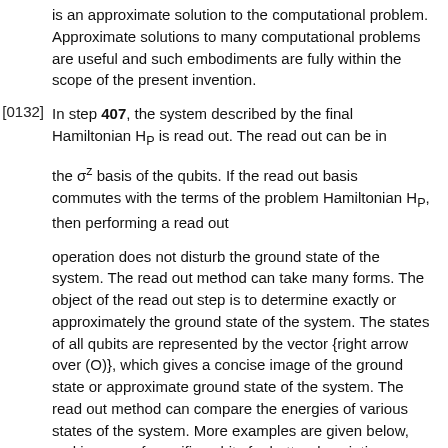is an approximate solution to the computational problem. Approximate solutions to many computational problems are useful and such embodiments are fully within the scope of the present invention.
[0132] In step 407, the system described by the final Hamiltonian H_P is read out. The read out can be in the σ^z basis of the qubits. If the read out basis commutes with the terms of the problem Hamiltonian H_P, then performing a read out operation does not disturb the ground state of the system. The read out method can take many forms. The object of the read out step is to determine exactly or approximately the ground state of the system. The states of all qubits are represented by the vector {right arrow over (O)}, which gives a concise image of the ground state or approximate ground state of the system. The read out method can compare the energies of various states of the system. More examples are given below, making use of specific qubits for better description.